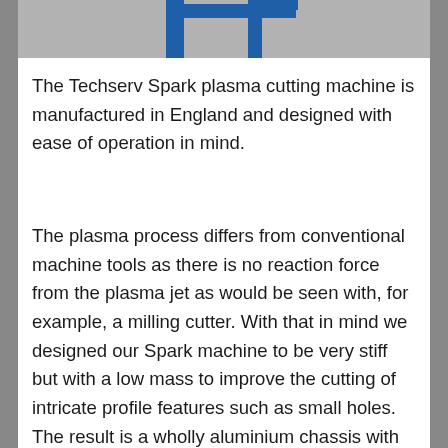[Figure (photo): Partial view of a Techserv Spark plasma cutting machine, blue metal frame visible against grey background, image cropped at top of page.]
The Techserv Spark plasma cutting machine is manufactured in England and designed with ease of operation in mind.
The plasma process differs from conventional machine tools as there is no reaction force from the plasma jet as would be seen with, for example, a milling cutter. With that in mind we designed our Spark machine to be very stiff but with a low mass to improve the cutting of intricate profile features such as small holes. The result is a wholly aluminium chassis with hardened and ground linear slide ways, economically sized motors combined with planetary gearboxes. The resultant machine not only looks elegant, but performs well and is easy to